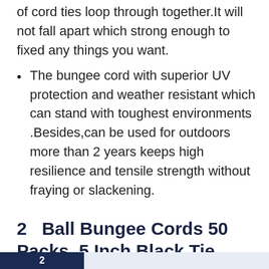of cord ties loop through together.It will not fall apart which strong enough to fixed any things you want.
The bungee cord with superior UV protection and weather resistant which can stand with toughest environments .Besides,can be used for outdoors more than 2 years keeps high resilience and tensile strength without fraying or slackening.
2   Ball Bungee Cords 50 Packs, 5 Inch Black Tie Down Cords for Tarp, Canopy Shelter, Wall Pipe, UV Resistant
2